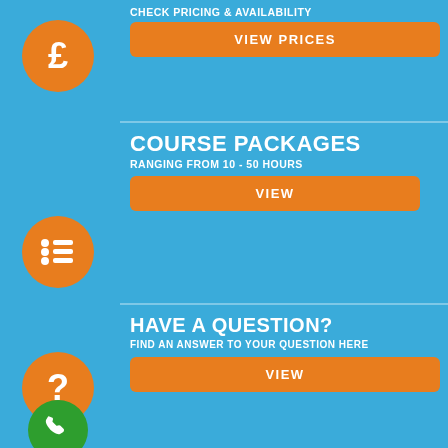CHECK PRICING & AVAILABILITY
VIEW PRICES
COURSE PACKAGES
RANGING FROM 10 - 50 HOURS
VIEW
HAVE A QUESTION?
FIND AN ANSWER TO YOUR QUESTION HERE
VIEW